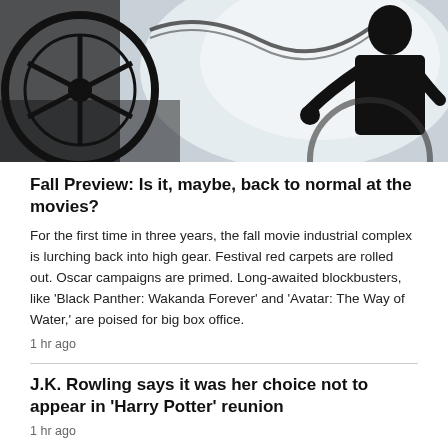[Figure (photo): Silhouette of a person working with a large film reel against a bright background]
Fall Preview: Is it, maybe, back to normal at the movies?
For the first time in three years, the fall movie industrial complex is lurching back into high gear. Festival red carpets are rolled out. Oscar campaigns are primed. Long-awaited blockbusters, like 'Black Panther: Wakanda Forever' and 'Avatar: The Way of Water,' are poised for big box office.
1 hr ago
J.K. Rowling says it was her choice not to appear in 'Harry Potter' reunion
1 hr ago